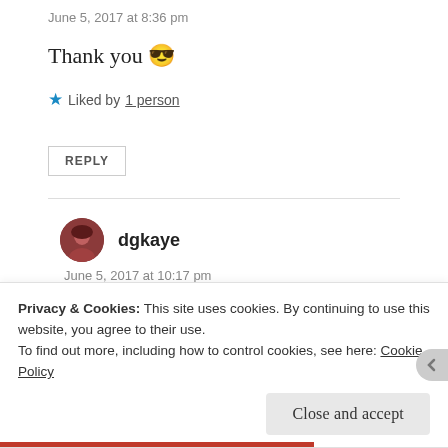June 5, 2017 at 8:36 pm
Thank you 😎
★ Liked by 1 person
REPLY
dgkaye
June 5, 2017 at 10:17 pm
Most welcome 🙂
Privacy & Cookies: This site uses cookies. By continuing to use this website, you agree to their use.
To find out more, including how to control cookies, see here: Cookie Policy
Close and accept